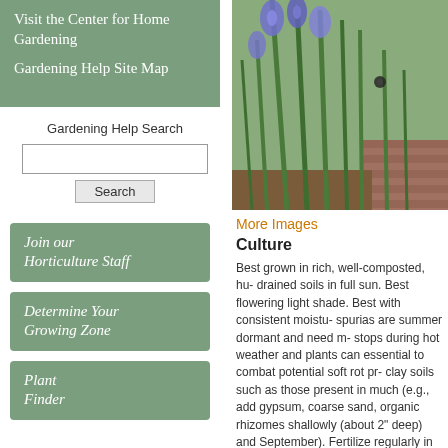Visit the Center for Home Gardening
Gardening Help Site Map
Gardening Help Search
[Figure (screenshot): Search input box and Search button]
Join our Horticulture Staff
Determine Your Growing Zone
Plant Finder
[Figure (photo): Photo of iris plants with blue/purple flowers and tall green leaves against a brick background]
More Images
Culture
Best grown in rich, well-composted, hu- drained soils in full sun. Best flowering light shade. Best with consistent moistu- spurias are summer dormant and need m- stops during hot weather and plants can essential to combat potential soft rot pr- clay soils such as those present in much (e.g., add gypsum, coarse sand, organic rhizomes shallowly (about 2" deep) and September). Fertilize regularly in spring individual spent flowers and remove flo- immediately after flowering when over-